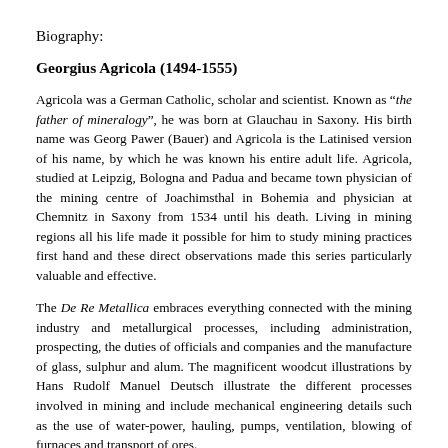Biography:
Georgius Agricola (1494-1555)
Agricola was a German Catholic, scholar and scientist. Known as “the father of mineralogy”, he was born at Glauchau in Saxony. His birth name was Georg Pawer (Bauer) and Agricola is the Latinised version of his name, by which he was known his entire adult life. Agricola, studied at Leipzig, Bologna and Padua and became town physician of the mining centre of Joachimsthal in Bohemia and physician at Chemnitz in Saxony from 1534 until his death. Living in mining regions all his life made it possible for him to study mining practices first hand and these direct observations made this series particularly valuable and effective.
The De Re Metallica embraces everything connected with the mining industry and metallurgical processes, including administration, prospecting, the duties of officials and companies and the manufacture of glass, sulphur and alum. The magnificent woodcut illustrations by Hans Rudolf Manuel Deutsch illustrate the different processes involved in mining and include mechanical engineering details such as the use of water-power, hauling, pumps, ventilation, blowing of furnaces and transport of ores.
Agricola made an important contribution to physical geology. He